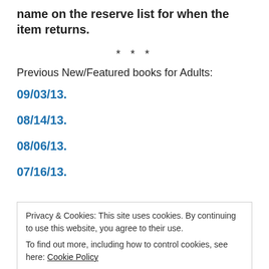name on the reserve list for when the item returns.
* * *
Previous New/Featured books for Adults:
09/03/13.
08/14/13.
08/06/13.
07/16/13.
Privacy & Cookies: This site uses cookies. By continuing to use this website, you agree to their use.
To find out more, including how to control cookies, see here: Cookie Policy
Close and accept
07/30/2013: